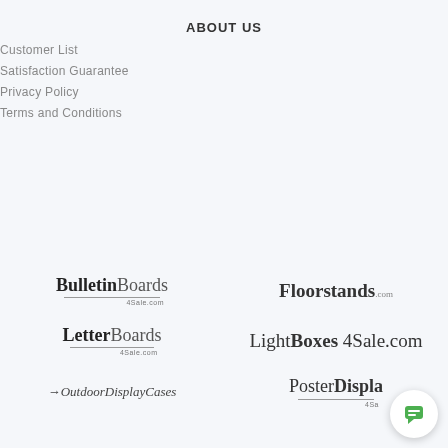ABOUT US
Customer List
Satisfaction Guarantee
Privacy Policy
Terms and Conditions
[Figure (logo): BulletinBoards4Sale.com logo]
[Figure (logo): Floorstands.com logo]
[Figure (logo): LetterBoards4Sale.com logo]
[Figure (logo): LightBoxes4Sale.com logo]
[Figure (logo): OutdoorDisplayCases logo]
[Figure (logo): PosterDisplays4Sale.com logo]